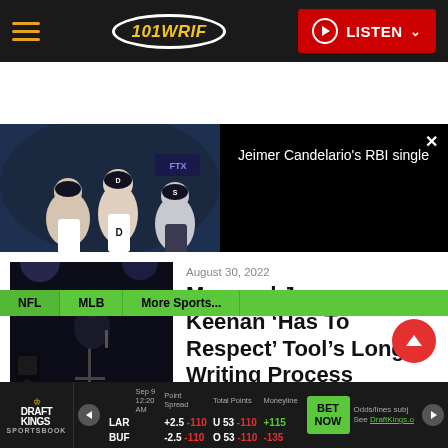101 WRIF — LISTEN
[Figure (screenshot): Video player showing baseball players (Detroit Tigers) with dark right panel. Text overlay: Jeimer Candelario's RBI single]
Jeimer Candelario's RBI single
[Figure (photo): Concert photo of Maynard James Keenan performing on dark stage]
August 30, 2022
Maynard James Keenan 'Has To Respect' Tool's Long Writing Process
|  | Point Spread | Total Points | Moneyline |
| --- | --- | --- | --- |
| LAR | +2.5 -110 | U 53 -110 | +115 |
| BUF | -2.5 -110 | O 53 -110 | -135 |